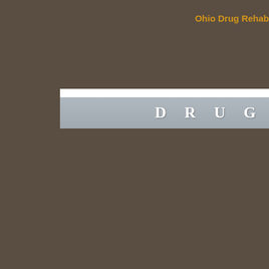Ohio Drug Rehab
[Figure (screenshot): Website header banner with gray gradient bar containing the text 'DRUG' in white spaced letters, with a white strip above it, on a dark brown background]